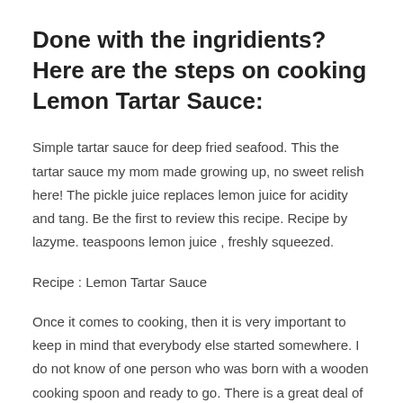Done with the ingridients? Here are the steps on cooking Lemon Tartar Sauce:
Simple tartar sauce for deep fried seafood. This the tartar sauce my mom made growing up, no sweet relish here! The pickle juice replaces lemon juice for acidity and tang. Be the first to review this recipe. Recipe by lazyme. teaspoons lemon juice , freshly squeezed.
Recipe : Lemon Tartar Sauce
Once it comes to cooking, then it is very important to keep in mind that everybody else started somewhere. I do not know of one person who was born with a wooden cooking spoon and ready to go. There is a great deal of learning that needs to be carried out in order to develop into prolific cook and then there is obviously room for improvement. Not only would you need to begin with the basics when it comes to cooking but you nearly need to start after